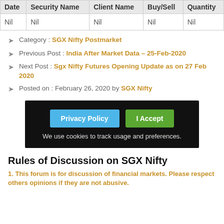| Date | Security Name | Client Name | Buy/Sell | Quantity |
| --- | --- | --- | --- | --- |
| Nil | Nil | Nil | Nil | Nil |
Category : SGX Nifty Postmarket
Previous Post : India After Market Data – 25-Feb-2020
Next Post : Sgx Nifty Futures Opening Update as on 27 Feb 2020
Posted on : February 26, 2020 by SGX Nifty
[Figure (other): Cookie consent banner with Privacy Policy and I Accept buttons. Text: We use cookies to track usage and preferences.]
Rules of Discussion on SGX Nifty
1. This forum is for discussion of financial markets. Please respect others opinions if they are not abusive.